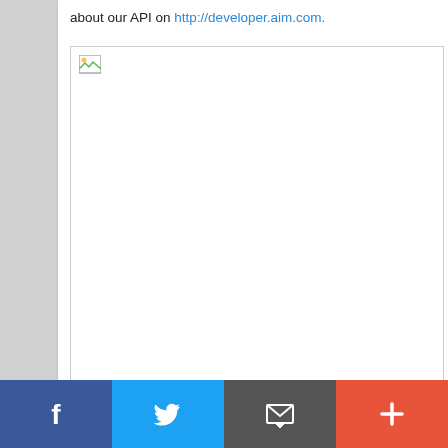about our API on http://developer.aim.com.
[Figure (other): Broken/missing image placeholder with small icon in top-left corner, large white rectangle area]
Social sharing bar with Facebook, Twitter, Email, and More (+) buttons